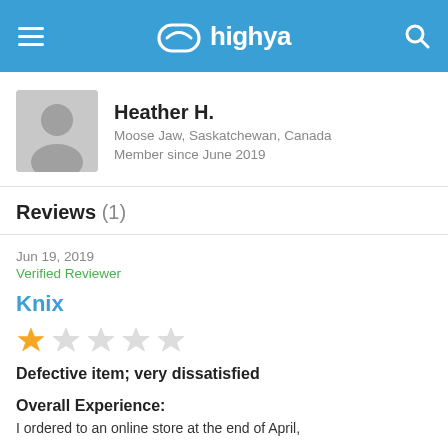highya
[Figure (photo): User profile avatar placeholder silhouette]
Heather H.
Moose Jaw, Saskatchewan, Canada
Member since June 2019
Reviews (1)
Jun 19, 2019
Verified Reviewer
Knix
[Figure (other): 1 out of 5 stars rating]
Defective item; very dissatisfied
Overall Experience:
I ordered to an online store at the end of April, so far...